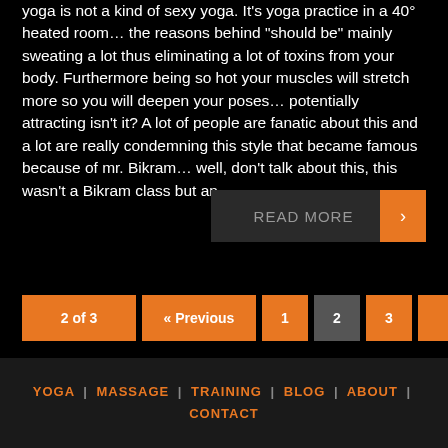yoga is not a kind of sexy yoga. It's yoga practice in a 40° heated room… the reasons behind "should be" mainly sweating a lot thus eliminating a lot of toxins from your body. Furthermore being so hot your muscles will stretch more so you will deepen your poses… potentially attracting isn't it? A lot of people are fanatic about this and a lot are really condemning this style that became famous because of mr. Bikram… well, don't talk about this, this wasn't a Bikram class but an
READ MORE
2 of 3  « Previous  1  2  3  Next »
YOGA | MASSAGE | TRAINING | BLOG | ABOUT | CONTACT